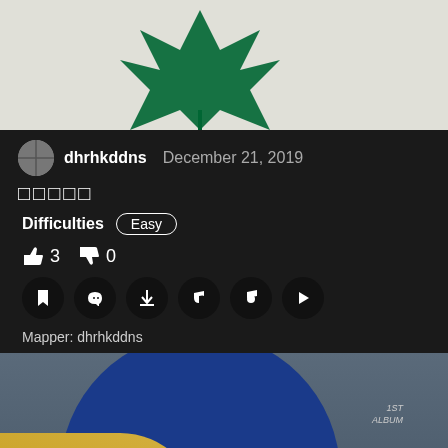[Figure (photo): Album cover art with green maple leaf on light background]
dhrhkddns  December 21, 2019
□□□□□
Difficulties  Easy
👍 3  👎 0
Mapper: dhrhkddns
[Figure (photo): Album cover with large dark blue circle, gold arc at bottom, white dot, and small text reading 1ST ALBUM on dark grey background]